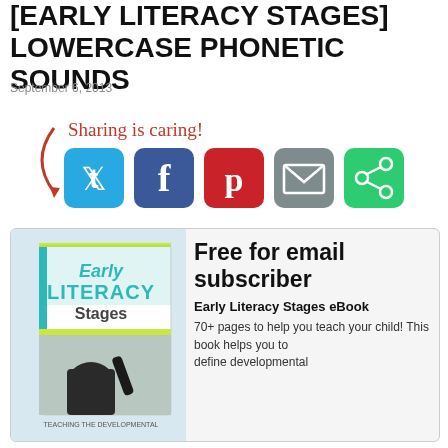[EARLY LITERACY STAGES] LOWERCASE PHONETIC SOUNDS
September 6, 2013
[Figure (infographic): Sharing is caring! social sharing buttons: Twitter (blue), Facebook (dark blue), Pinterest (red), Email (gray), More (green), with a red arrow pointing to them and handwritten-style text 'Sharing is caring!']
[Figure (photo): Promotional box for Early Literacy Stages eBook showing book cover with a child writing on a window, alongside text: Free for email subscriber, Early Literacy Stages eBook, 70+ pages to help you teach your child! This book helps you to define developmental...]